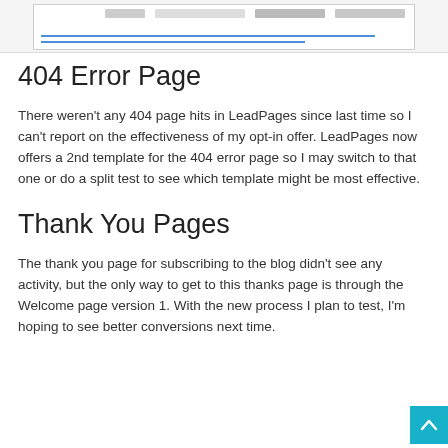[Figure (screenshot): A partial screenshot of a web browser or application interface showing a toolbar with buttons and a line of blue hyperlink text.]
404 Error Page
There weren't any 404 page hits in LeadPages since last time so I can't report on the effectiveness of my opt-in offer. LeadPages now offers a 2nd template for the 404 error page so I may switch to that one or do a split test to see which template might be most effective.
Thank You Pages
The thank you page for subscribing to the blog didn't see any activity, but the only way to get to this thanks page is through the Welcome page version 1. With the new process I plan to test, I'm hoping to see better conversions next time.